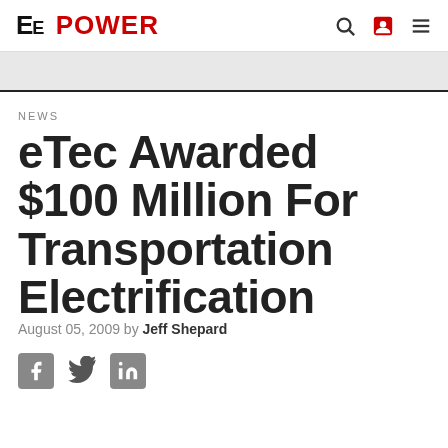EE POWER
NEWS
eTec Awarded $100 Million For Transportation Electrification
August 05, 2009 by Jeff Shepard
[Figure (other): Social media sharing icons: Facebook, Twitter, LinkedIn]